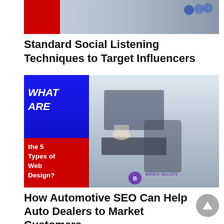[Figure (photo): Partial thumbnail image with red section on left and blurred office/tech photo on right]
Standard Social Listening Techniques to Target Influencers
[Figure (infographic): Article thumbnail showing blue and red panels on left with text 'WHAT ARE the 5 Types of Web Design?' in white/yellow italic bold text, and an office desk/tablet/keyboard photo on the right with a 'Bids and Bullets' watermark logo at the bottom]
How Automotive SEO Can Help Auto Dealers to Market Customers